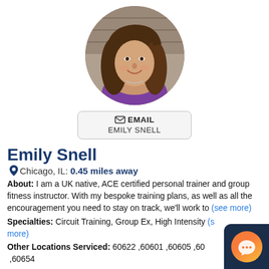[Figure (photo): Circular profile photo of Emily Snell, a young woman with long brown wavy hair, smiling, wearing a purple top, outdoors against a brick wall background.]
✉ EMAIL
EMILY SNELL
Emily Snell
📍 Chicago, IL: 0.45 miles away
About: I am a UK native, ACE certified personal trainer and group fitness instructor. With my bespoke training plans, as well as all the encouragement you need to stay on track, we'll work to (see more)
Specialties: Circuit Training, Group Ex, High Intensity (see more)
Other Locations Serviced: 60622 ,60601 ,60605 ,60 ,60654